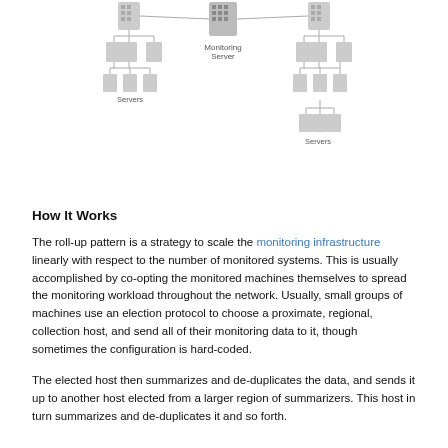[Figure (network-graph): Hierarchical network diagram showing a Monitoring Server at the top center, connected to two tree-like hierarchies of servers on the left and right sides. Each hierarchy shows servers branching down multiple levels, with labels 'Servers' at the leaf nodes.]
How It Works
The roll-up pattern is a strategy to scale the monitoring infrastructure linearly with respect to the number of monitored systems. This is usually accomplished by co-opting the monitored machines themselves to spread the monitoring workload throughout the network. Usually, small groups of machines use an election protocol to choose a proximate, regional, collection host, and send all of their monitoring data to it, though sometimes the configuration is hard-coded.
The elected host then summarizes and de-duplicates the data, and sends it up to another host elected from a larger region of summarizers. This host in turn summarizes and de-duplicates it and so forth.